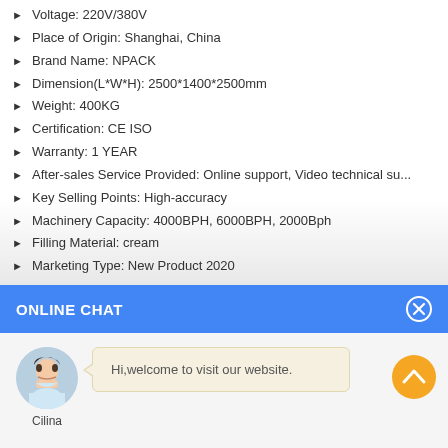Voltage: 220V/380V
Place of Origin: Shanghai, China
Brand Name: NPACK
Dimension(L*W*H): 2500*1400*2500mm
Weight: 400KG
Certification: CE ISO
Warranty: 1 YEAR
After-sales Service Provided: Online support, Video technical su...
Key Selling Points: High-accuracy
Machinery Capacity: 4000BPH, 6000BPH, 2000Bph
Filling Material: cream
Marketing Type: New Product 2020
ONLINE CHAT
[Figure (illustration): Online chat widget with avatar of a woman named Cilina and a speech bubble saying 'Hi,welcome to visit our website.']